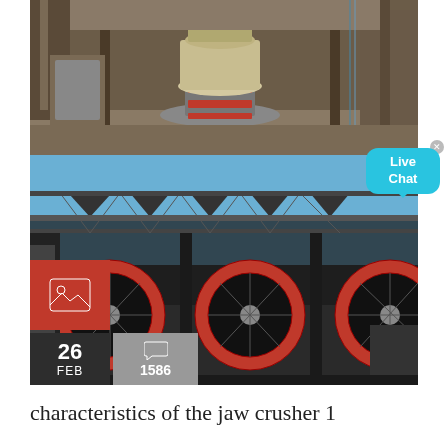[Figure (photo): Industrial machinery — cone crusher equipment shot from above in a workshop or factory setting, showing metallic machinery parts, beige/yellow cone crusher, red accents, metal frames and structures.]
[Figure (photo): Large industrial facility exterior showing multiple jaw crushers with large red flywheels, conveyor structures, under a blue sky. Overlaid with a red image-icon box, date box showing '26 FEB', and comment count '1586'. A Live Chat bubble appears top-right.]
characteristics of the jaw crusher 1